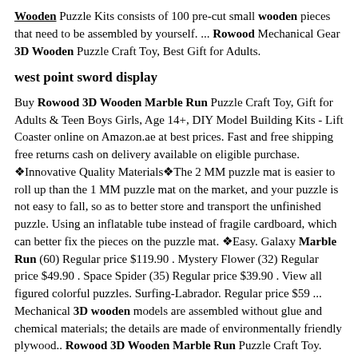Wooden Puzzle Kits consists of 100 pre-cut small wooden pieces that need to be assembled by yourself. ... Rowood Mechanical Gear 3D Wooden Puzzle Craft Toy, Best Gift for Adults.
west point sword display
Buy Rowood 3D Wooden Marble Run Puzzle Craft Toy, Gift for Adults & Teen Boys Girls, Age 14+, DIY Model Building Kits - Lift Coaster online on Amazon.ae at best prices. Fast and free shipping free returns cash on delivery available on eligible purchase. ⎕Innovative Quality Materials⎕The 2 MM puzzle mat is easier to roll up than the 1 MM puzzle mat on the market, and your puzzle is not easy to fall, so as to better store and transport the unfinished puzzle. Using an inflatable tube instead of fragile cardboard, which can better fix the pieces on the puzzle mat. ⎕Easy. Galaxy Marble Run (60) Regular price $119.90 . Mystery Flower (32) Regular price $49.90 . Space Spider (35) Regular price $39.90 . View all figured colorful puzzles. Surfing-Labrador. Regular price $59 ... Mechanical 3D wooden models are assembled without glue and chemical materials; the details are made of environmentally friendly plywood.. Rowood 3D Wooden Marble Run Puzzle Craft Toy. This 3D Wooden Marble Run Puzzle comes with 260 pre-cut wooden pieces that need to be assembled to create this brilliant project. It also comes with an easy instruction manual, and all the pieces are labeled so that assembly becomes simple. [ MAKE YOUR OWN CRAFT ]- This 3D Wood...